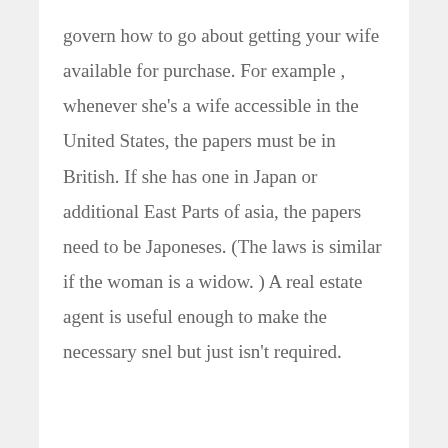govern how to go about getting your wife available for purchase. For example , whenever she's a wife accessible in the United States, the papers must be in British. If she has one in Japan or additional East Parts of asia, the papers need to be Japoneses. (The laws is similar if the woman is a widow. ) A real estate agent is useful enough to make the necessary snel but just isn't required.